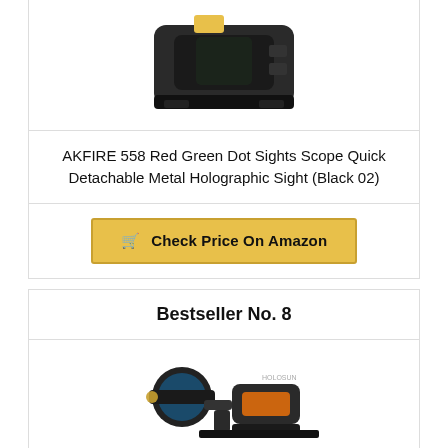[Figure (photo): Product photo of AKFIRE 558 Red Green Dot holographic sight scope, black color, partial top view]
AKFIRE 558 Red Green Dot Sights Scope Quick Detachable Metal Holographic Sight (Black 02)
Check Price On Amazon
Bestseller No. 8
[Figure (photo): Product photo of a magnifier scope and red dot sight combo (Holosun style), black, mounted on rail]